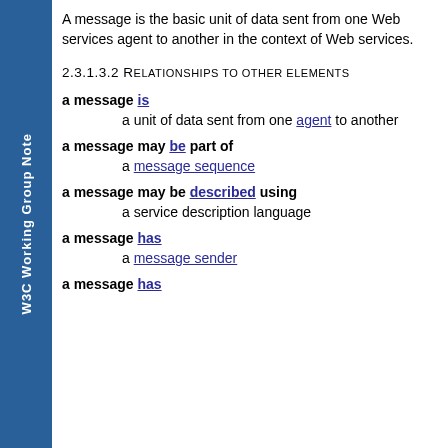W3C Working Group Note
A message is the basic unit of data sent from one Web services agent to another in the context of Web services.
2.3.1.3.2 Relationships to other elements
a message is a unit of data sent from one agent to another
a message may be part of a message sequence
a message may be described using a service description language
a message has a message sender
a message has